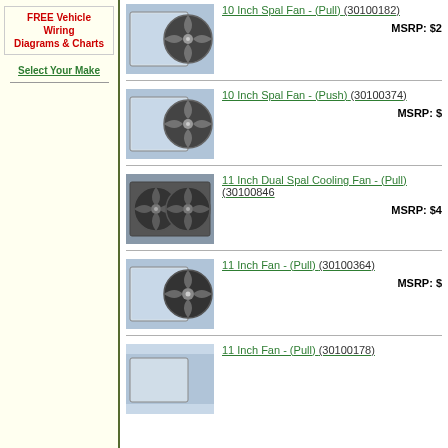FREE Vehicle Wiring Diagrams & Charts
Select Your Make
10 Inch Spal Fan - (Pull) (30100182) MSRP: $2...
10 Inch Spal Fan - (Push) (30100374) MSRP: $...
11 Inch Dual Spal Cooling Fan - (Pull) (30100846) MSRP: $4...
11 Inch Fan - (Pull) (30100364) MSRP: $...
11 Inch Fan - (Pull) (30100178)